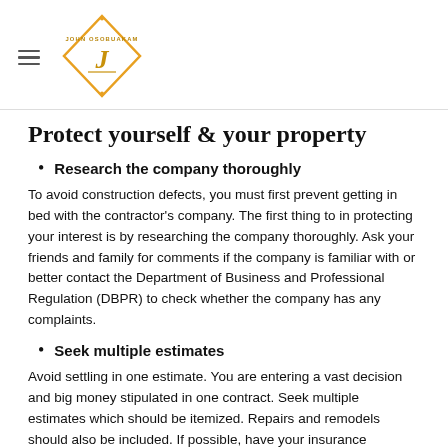John Osobuakam (logo)
Protect yourself & your property
Research the company thoroughly
To avoid construction defects, you must first prevent getting in bed with the contractor's company. The first thing to in protecting your interest is by researching the company thoroughly. Ask your friends and family for comments if the company is familiar with or better contact the Department of Business and Professional Regulation (DBPR) to check whether the company has any complaints.
Seek multiple estimates
Avoid settling in one estimate. You are entering a vast decision and big money stipulated in one contract. Seek multiple estimates which should be itemized. Repairs and remodels should also be included. If possible, have your insurance